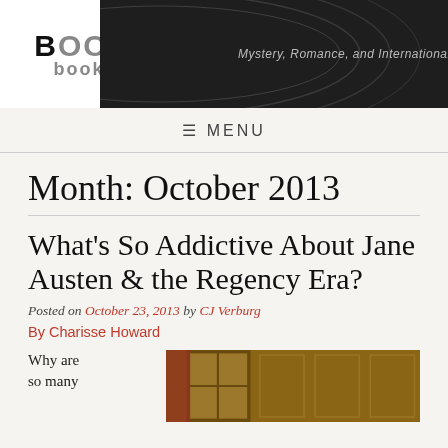[Figure (logo): Boom Books logo with tagline: Mystery, Romance, and International Intrigue on a dark banner background with curved lines]
≡ MENU
Month: October 2013
What's So Addictive About Jane Austen & the Regency Era?
Posted on October 23, 2013 by CJ Verburg
By Charisse Howard
Why are so many
[Figure (photo): Interior room photo showing ornate window with curtains and decorated wall panels]